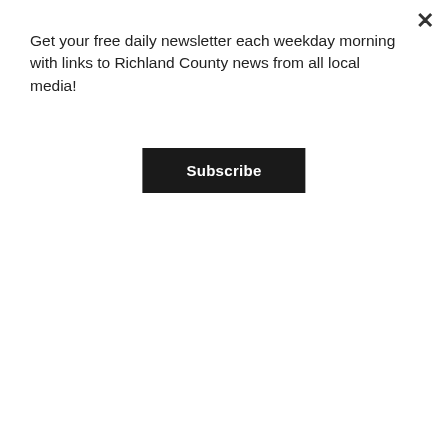Get your free daily newsletter each weekday morning with links to Richland County news from all local media!
Subscribe
[Figure (photo): Street scene showing a cruise-in event downtown with classic cars, crowds of people on sidewalks, traffic lights, and tall urban buildings in the background on a sunny day.]
TURN BACK THE CLOCK AND REV THE ENGINES: IT'S CRUISE-IN TIME
[Figure (photo): Partial view of a classic vintage car at a cruise-in event, dark moody background.]